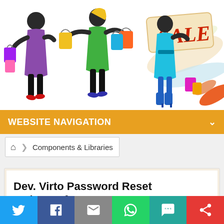[Figure (illustration): Colorful illustration of three stylish women carrying shopping bags walking, with a SALE banner tag on the right side]
WEBSITE NAVIGATION
Components & Libraries
Dev. Virto Password Reset Web Part for SP2007
[Figure (infographic): Social sharing bar with icons: Twitter (blue), Facebook (dark blue), Email (gray), WhatsApp (green), SMS (teal), Share (red)]